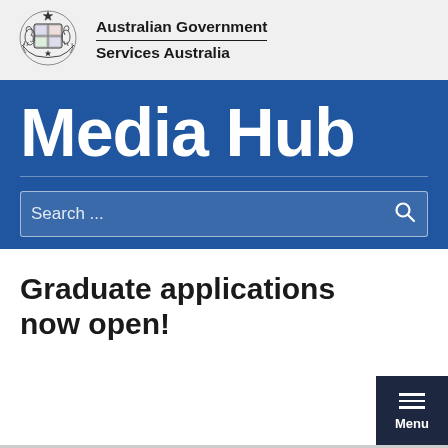[Figure (logo): Australian Government coat of arms logo with kangaroo and emu]
Australian Government
Services Australia
Media Hub
Graduate applications now open!